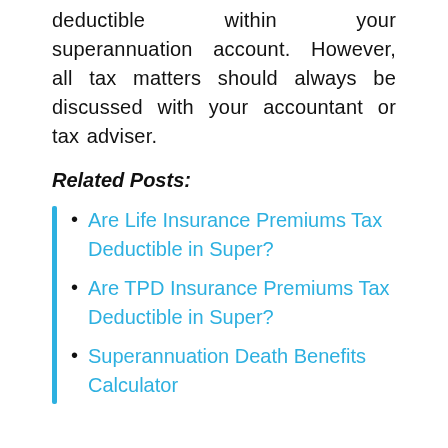deductible within your superannuation account. However, all tax matters should always be discussed with your accountant or tax adviser.
Related Posts:
Are Life Insurance Premiums Tax Deductible in Super?
Are TPD Insurance Premiums Tax Deductible in Super?
Superannuation Death Benefits Calculator